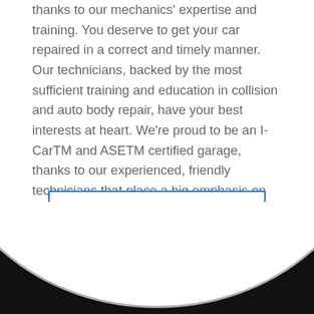thanks to our mechanics' expertise and training. You deserve to get your car repaired in a correct and timely manner. Our technicians, backed by the most sufficient training and education in collision and auto body repair, have your best interests at heart. We're proud to be an I-CarTM and ASETM certified garage, thanks to our experienced, friendly technicians that place a big emphasis on quality workmanship and superior customer service. We service the greater Quincy Illinois area.
More Automotive Services
[Figure (illustration): Bottom curved arc graphic with dark black background, creating a large circular/oval cutout shape against the white page background.]